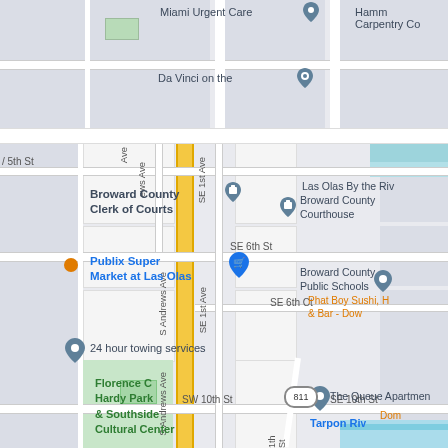[Figure (map): Google Maps screenshot showing downtown Fort Lauderdale, Florida area. Top portion shows Miami Urgent Care, Da Vinci on the (truncated), Hamm Carpentry Co (truncated). Bottom portion shows street grid with: N 5th St, SE 1st Ave, S Andrews Ave, ews Ave, SE 6th St, SE 6th Ct, SW 10th St, SE 10th St. Landmarks include Broward County Clerk of Courts, Broward County Courthouse, Las Olas By the Riv(er), Publix Super Market at Las Olas, Broward County Public Schools, Phat Boy Sushi H & Bar - Dow(ntown), 24 hour towing services, Florence C Hardy Park & Southside Cultural Center, The Queue Apartmen(ts), Tarpon Ri(ver), Dom(truncated), route marker 811.]